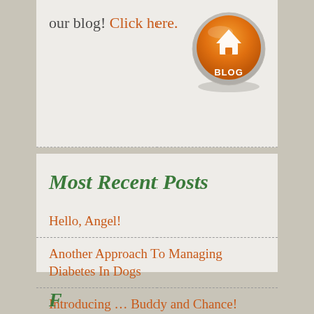our blog! Click here.
[Figure (logo): Orange circular blog button icon with a house/blog symbol and 'BLOG' text]
Most Recent Posts
Hello, Angel!
Another Approach To Managing Diabetes In Dogs
Introducing … Buddy and Chance!